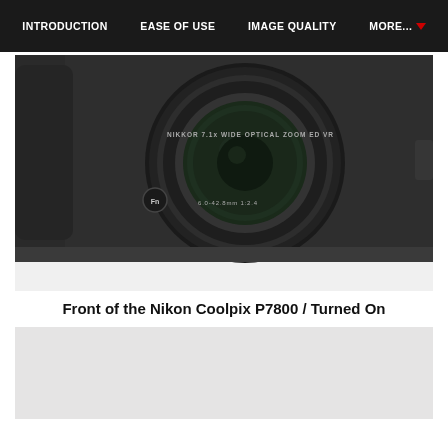INTRODUCTION | EASE OF USE | IMAGE QUALITY | MORE...
[Figure (photo): Front view of a Nikon Coolpix P7800 camera with lens extended, showing NIKKOR 7.1x Wide Optical Zoom ED VR lens and Fn button, camera body in black, on white background]
Front of the Nikon Coolpix P7800 / Turned On
[Figure (photo): Partial view of another camera photo, light grey background, bottom portion cut off]